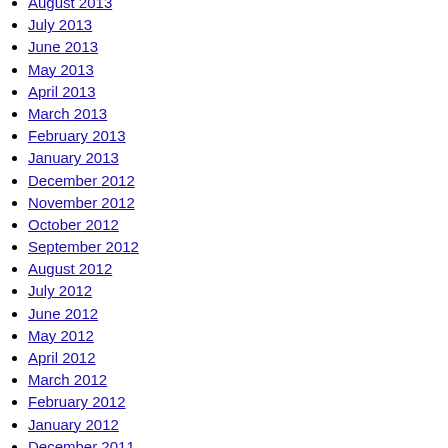August 2013
July 2013
June 2013
May 2013
April 2013
March 2013
February 2013
January 2013
December 2012
November 2012
October 2012
September 2012
August 2012
July 2012
June 2012
May 2012
April 2012
March 2012
February 2012
January 2012
December 2011
November 2011
October 2011
May 2011
December 2010